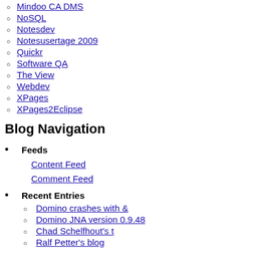Mindoo CA DMS
NoSQL
Notesdev
Notesusertage 2009
Quickr
Software QA
The View
Webdev
XPages
XPages2Eclipse
Blog Navigation
Feeds
Content Feed
Comment Feed
Recent Entries
Domino crashes with &
Domino JNA version 0.9.48
Chad Schelfhout's t
Ralf Petter's blog